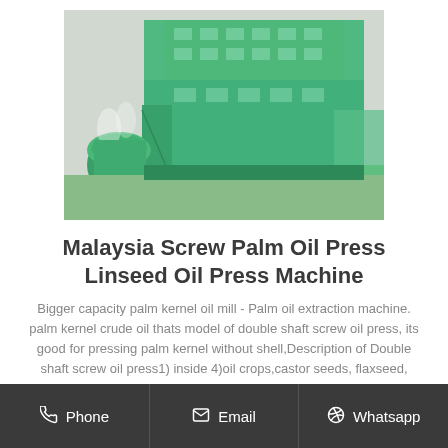[Figure (photo): Aerial view of a large green industrial palm oil mill / oil press factory building with multiple floors, cooling towers, and surrounding grounds.]
Malaysia Screw Palm Oil Press Linseed Oil Press Machine
Bigger capacity palm kernel oil mill - Palm oil extraction machine. palm kernel crude oil thats model of double shaft screw oil press, its good for pressing palm kernel without shell,Description of Double shaft screw oil press1) inside 4)oil crops,castor seeds, flaxseed, rapeseed, cashew nut , peanut, cottonseed, sunflower seeds, soybean, corn germ, flax maple seed, safflower, almond
Phone | Email | Whatsapp